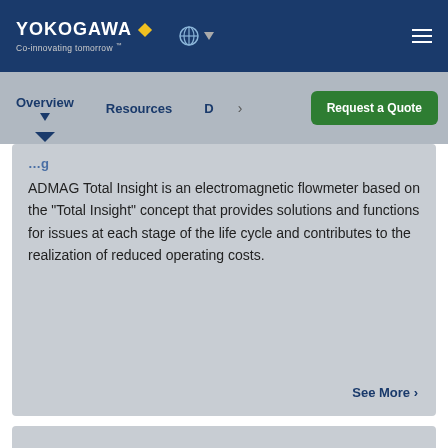[Figure (logo): Yokogawa logo with yellow diamond and tagline 'Co-innovating tomorrow']
Overview   Resources   D   Request a Quote
ADMAG Total Insight is an electromagnetic flowmeter based on the "Total Insight" concept that provides solutions and functions for issues at each stage of the life cycle and contributes to the realization of reduced operating costs.
See More >